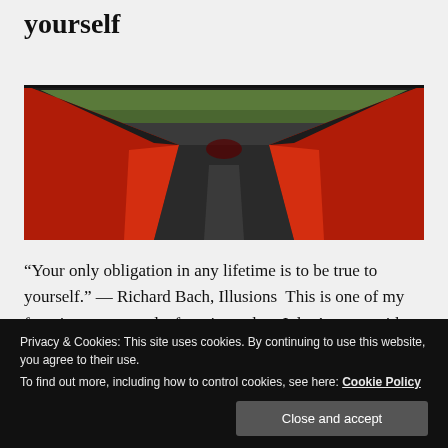yourself
[Figure (photo): A perspective photo of a narrow winding path flanked by tall curved red walls, with green trees visible at the top in the background.]
“Your only obligation in any lifetime is to be true to yourself.” — Richard Bach, Illusions  This is one of my favorite quotes, and a favorite author. I don’t agree with everything he says but I am unwavering in my belief that
Privacy & Cookies: This site uses cookies. By continuing to use this website, you agree to their use.
To find out more, including how to control cookies, see here: Cookie Policy
Close and accept